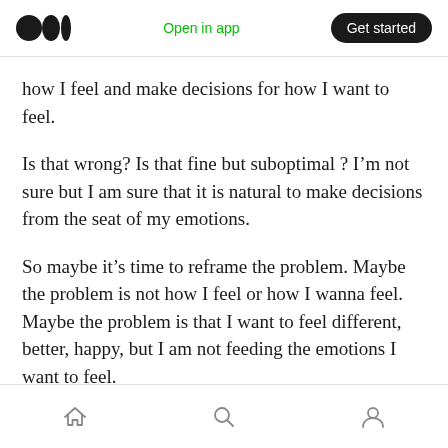Medium logo | Open in app | Get started
how I feel and make decisions for how I want to feel.
Is that wrong? Is that fine but suboptimal ? I’m not sure but I am sure that it is natural to make decisions from the seat of my emotions.
So maybe it’s time to reframe the problem. Maybe the problem is not how I feel or how I wanna feel. Maybe the problem is that I want to feel different, better, happy, but I am not feeding the emotions I want to feel.
Home | Search | Profile